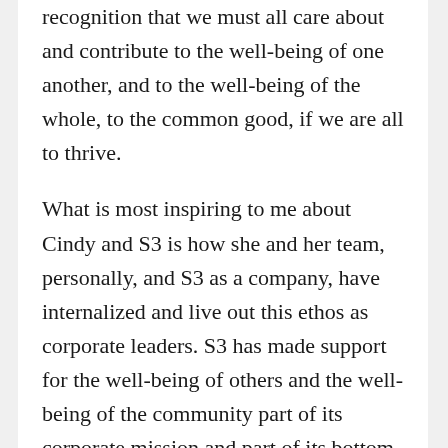recognition that we must all care about and contribute to the well-being of one another, and to the well-being of the whole, to the common good, if we are all to thrive.
What is most inspiring to me about Cindy and S3 is how she and her team, personally, and S3 as a company, have internalized and live out this ethos as corporate leaders. S3 has made support for the well-being of others and the well-being of the community part of its corporate mission and part of its bottom line.
This is reflected in S3’s commitment to focus not just on profit, but to use its power and resources to create jobs and provide people opportunities to succeed and change their lives. And it is reflected in